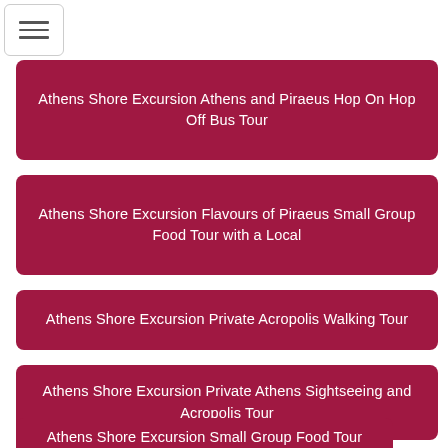[Figure (other): Hamburger menu icon button with three horizontal lines]
Athens Shore Excursion Athens and Piraeus Hop On Hop Off Bus Tour
Athens Shore Excursion Flavours of Piraeus Small Group Food Tour with a Local
Athens Shore Excursion Private Acropolis Walking Tour
Athens Shore Excursion Private Athens Sightseeing and Acropolis Tour
Athens Shore Excursion Small Group Food Tour